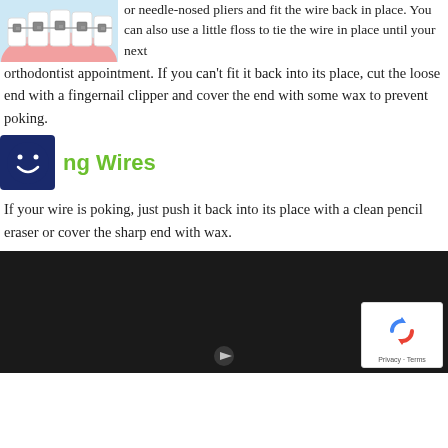[Figure (illustration): Illustration of teeth with dental braces/orthodontic brackets shown from a front view with pink gums and blue background]
or needle-nosed pliers and fit the wire back in place. You can also use a little floss to tie the wire in place until your next orthodontist appointment. If you can't fit it back into its place, cut the loose end with a fingernail clipper and cover the end with some wax to prevent poking.
ng Wires
If your wire is poking, just push it back into its place with a clean pencil eraser or cover the sharp end with wax.
[Figure (screenshot): Dark video player thumbnail with reCAPTCHA badge in bottom right corner showing Privacy - Terms text]